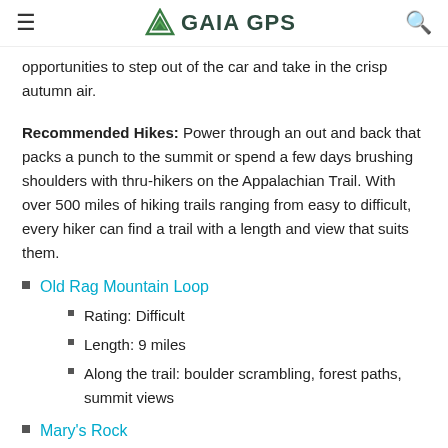GAIA GPS
opportunities to step out of the car and take in the crisp autumn air.
Recommended Hikes: Power through an out and back that packs a punch to the summit or spend a few days brushing shoulders with thru-hikers on the Appalachian Trail. With over 500 miles of hiking trails ranging from easy to difficult, every hiker can find a trail with a length and view that suits them.
Old Rag Mountain Loop
Rating: Difficult
Length: 9 miles
Along the trail: boulder scrambling, forest paths, summit views
Mary's Rock
Rating: Easy